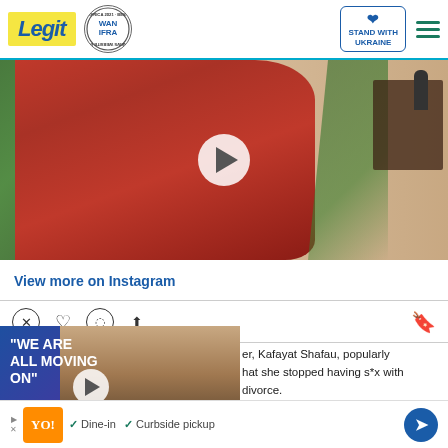Legit | WAN-IFRA Best News Website in Africa 2021 | Stand with Ukraine
[Figure (photo): Woman in red lace dress seated, with palm plant and table in background, video play button overlay]
View more on Instagram
[Figure (photo): Social media interaction icons: X, heart, comment, share, bookmark]
[Figure (infographic): Promotional video card with blue-purple gradient background showing 'WE ARE ALL MOVING ON' text and couple photo with play button]
er, Kafayat Shafau, popularly hat she stopped having s*x with divorce.
[Figure (other): Red scroll down button with chevron]
Ad: Dine-in ✓ Curbside pickup ✓